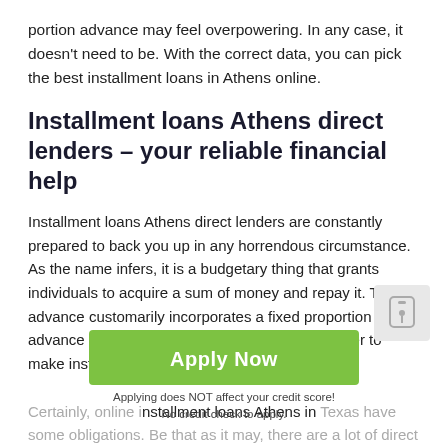portion advance may feel overpowering. In any case, it doesn't need to be. With the correct data, you can pick the best installment loans in Athens online.
Installment loans Athens direct lenders – your reliable financial help
Installment loans Athens direct lenders are constantly prepared to back you up in any horrendous circumstance. As the name infers, it is a budgetary thing that grants individuals to acquire a sum of money and repay it. The advance customarily incorporates a fixed proportion of advance expenses and would require the borrower to make installments.
[Figure (other): Green 'Apply Now' button overlay with subtext 'Applying does NOT affect your credit score! No credit check to apply.']
Certainly, online installment loans Athens in Texas have some obligations. Be that as it may, there are a lot of direct loan specialists both on the web and in your general vicinity. In this manner, you can locate the low-interest